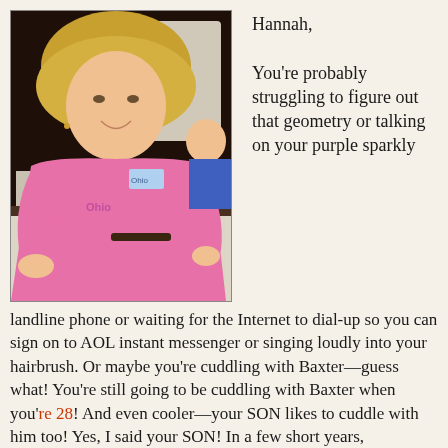[Figure (photo): Young blonde woman in a pink hoodie sitting at a table, smiling at the camera]
Hannah,

You're probably struggling to figure out that geometry or talking on your purple sparkly landline phone or waiting for the Internet to dial-up so you can sign on to AOL instant messenger or singing loudly into your hairbrush. Or maybe you're cuddling with Baxter—guess what! You're still going to be cuddling with Baxter when you're 28! And even cooler—your SON likes to cuddle with him too! Yes, I said your SON! In a few short years,